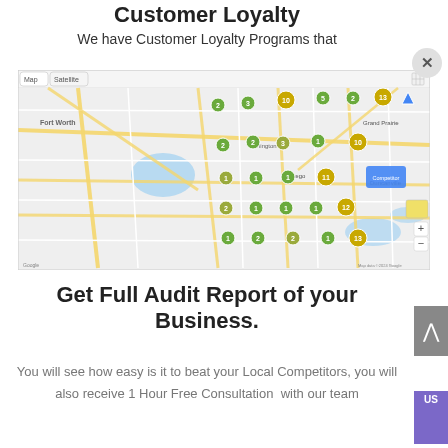Customer Loyalty
We have Customer Loyalty Programs that
[Figure (map): Google Maps screenshot showing clustered map pins (green and yellow numbered markers) over a metropolitan area, with Map/Satellite toggle, zoom controls, and Google attribution.]
Get Full Audit Report of your Business.
You will see how easy is it to beat your Local Competitors, you will also receive 1 Hour Free Consultation  with our team